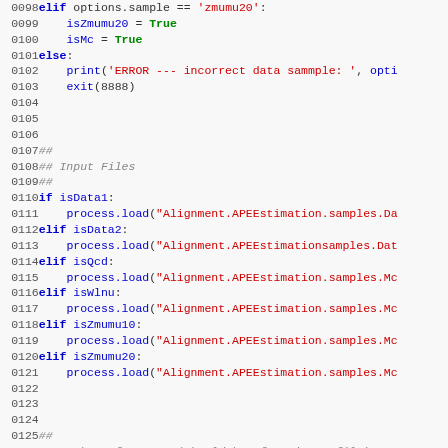Python source code lines 0098-0127 showing conditional sample checks and file loading logic